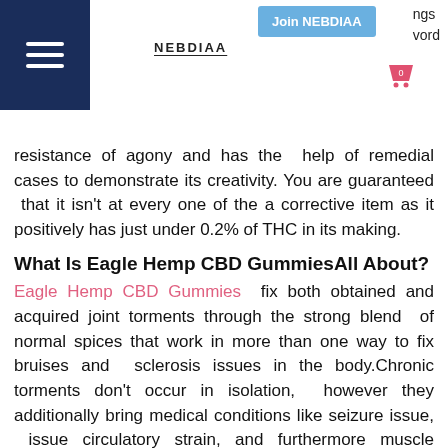NEBDIAA | Join NEBDIAA
resistance of agony and has the help of remedial cases to demonstrate its creativity. You are guaranteed that it isn't at every one of the a corrective item as it positively has just under 0.2% of THC in its making.
What Is Eagle Hemp CBD GummiesAll About?
Eagle Hemp CBD Gummies  fix both obtained and acquired joint torments through the strong blend of normal spices that work in more than one way to fix bruises and sclerosis issues in the body.Chronic torments don't occur in isolation, however they additionally bring medical conditions like seizure issue, issue circulatory strain, and furthermore muscle squeezes together. Together these issues definitely make daily routine an experiencing hellfire as moving openly